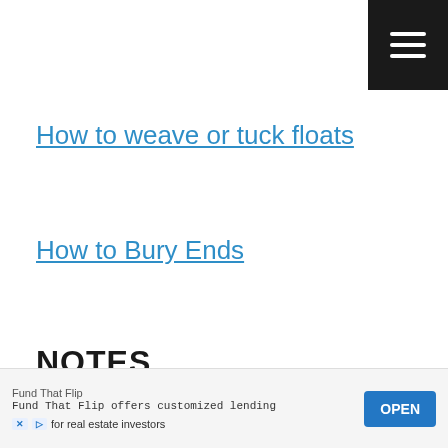[Figure (other): Hamburger menu icon button (three horizontal white lines on dark background) in top-right corner]
How to weave or tuck floats
How to Bury Ends
NOTES
Project is worked in the round on circular needles. Change to double-pointed needles when there are too few stitches to
[Figure (other): Advertisement banner for Fund That Flip: 'Fund That Flip offers customized lending for real estate investors' with OPEN button]